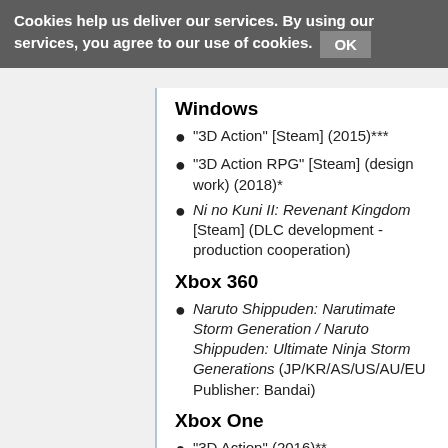Cookies help us deliver our services. By using our services, you agree to our use of cookies. OK
Windows
"3D Action" [Steam] (2015)***
"3D Action RPG" [Steam] (design work) (2018)*
Ni no Kuni II: Revenant Kingdom [Steam] (DLC development - production cooperation)
Xbox 360
Naruto Shippuden: Narutimate Storm Generation / Naruto Shippuden: Ultimate Ninja Storm Generations (JP/KR/AS/US/AU/EU Publisher: Bandai)
Xbox One
"3D Action" (2016)**
"3D Action RPG" (design work)